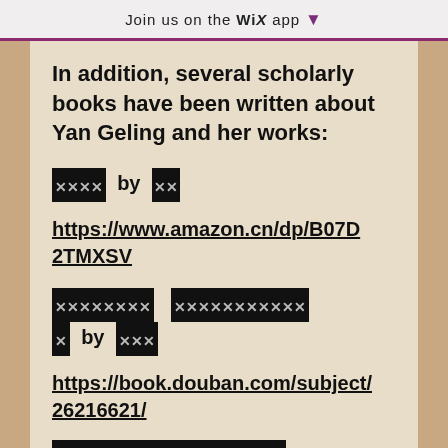Join us on the WiX app ↓
In addition, several scholarly books have been written about Yan Geling and her works:
XXXX by XX
https://www.amazon.cn/dp/B07D2TMXSV
XXXXXXXX XXXXXXXXXXX by XXX
https://book.douban.com/subject/26216621/
XXXXXXXXXXXXXXXXXX